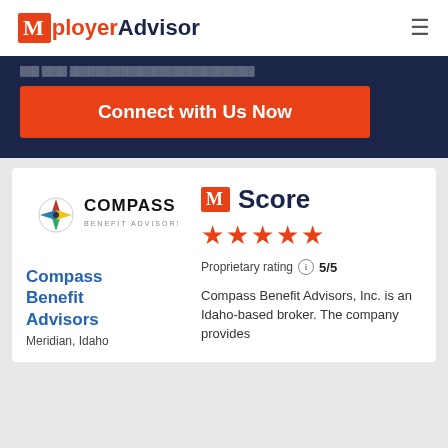Mployer Advisor
Connect with Us Now
[Figure (logo): Compass Benefit Advisors logo with compass rose]
M Score ★★★★★
Proprietary rating ⓘ 5/5
Compass Benefit Advisors
Meridian, Idaho
Compass Benefit Advisors, Inc. is an Idaho-based broker. The company provides